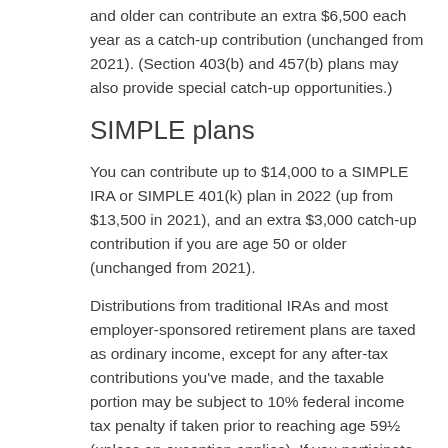and older can contribute an extra $6,500 each year as a catch-up contribution (unchanged from 2021). (Section 403(b) and 457(b) plans may also provide special catch-up opportunities.)
SIMPLE plans
You can contribute up to $14,000 to a SIMPLE IRA or SIMPLE 401(k) plan in 2022 (up from $13,500 in 2021), and an extra $3,000 catch-up contribution if you are age 50 or older (unchanged from 2021).
Distributions from traditional IRAs and most employer-sponsored retirement plans are taxed as ordinary income, except for any after-tax contributions you've made, and the taxable portion may be subject to 10% federal income tax penalty if taken prior to reaching age 59½ (unless an exception applies). If you participate in both a traditional IRA and an employer-sponsored plan, your IRA contributions may or may not be tax